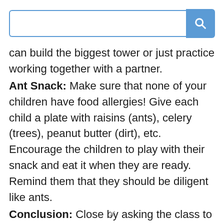[Figure (screenshot): Search bar with blue border and blue search button with magnifying glass icon]
can build the biggest tower or just practice working together with a partner.
Ant Snack: Make sure that none of your children have food allergies!  Give each child a plate with raisins (ants), celery (trees), peanut butter (dirt), etc.  Encourage the children to play with their snack and eat it when they are ready.  Remind them that they should be diligent like ants.
Conclusion: Close by asking the class to each say one thing that they can do this week to show that they value work.  This